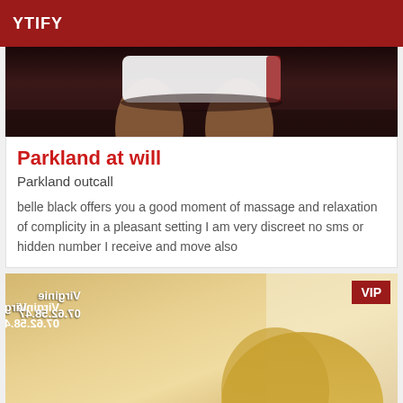YTIFY
[Figure (photo): Photo showing legs wearing white shorts against dark background]
Parkland at will
Parkland outcall
belle black offers you a good moment of massage and relaxation of complicity in a pleasant setting I am very discreet no sms or hidden number I receive and move also
[Figure (photo): Photo with mirrored text reading 'Virginie 07.62.58.47' and blonde woman, with VIP badge in red corner]